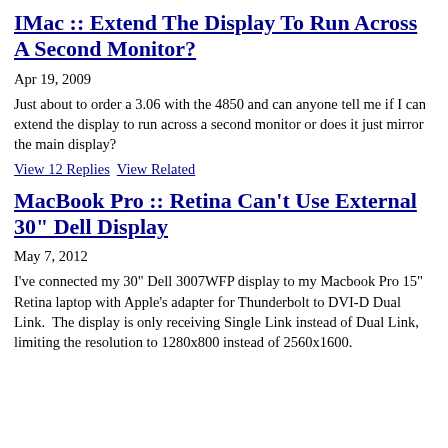IMac :: Extend The Display To Run Across A Second Monitor?
Apr 19, 2009
Just about to order a 3.06 with the 4850 and can anyone tell me if I can extend the display to run across a second monitor or does it just mirror the main display?
View 12 Replies   View Related
MacBook Pro :: Retina Can't Use External 30" Dell Display
May 7, 2012
I've connected my 30" Dell 3007WFP display to my Macbook Pro 15" Retina laptop with Apple's adapter for Thunderbolt to DVI-D Dual Link.  The display is only receiving Single Link instead of Dual Link, limiting the resolution to 1280x800 instead of 2560x1600.